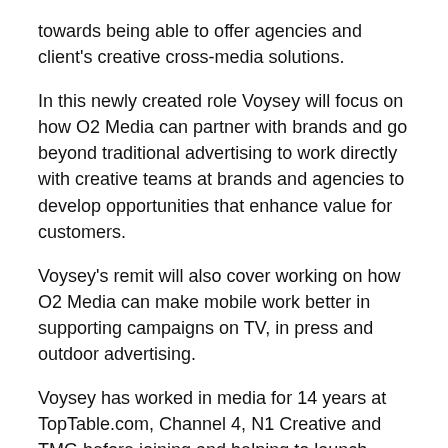towards being able to offer agencies and client's creative cross-media solutions.
In this newly created role Voysey will focus on how O2 Media can partner with brands and go beyond traditional advertising to work directly with creative teams at brands and agencies to develop opportunities that enhance value for customers.
Voysey's remit will also cover working on how O2 Media can make mobile work better in supporting campaigns on TV, in press and outdoor advertising.
Voysey has worked in media for 14 years at TopTable.com, Channel 4, N1 Creative and TMG before joining and helping to launch Blinkx in 2007. In November 2009 Voysey joined O2 Media as a business manager working with a selection of UK agencies and clients to launch O2 More, the personalised messaging platform from O2 Media.
In addition to Voysey's promotion, O2 Media has appointed